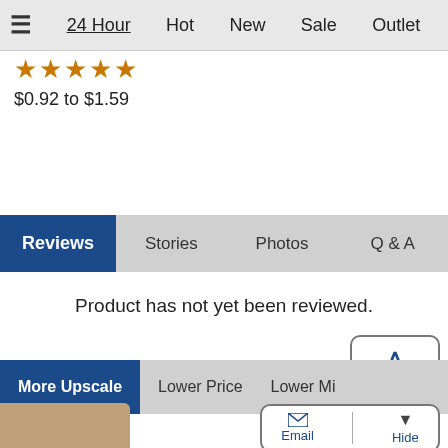≡  24 Hour  Hot  New  Sale  Outlet
★★★★★
$0.92 to $1.59
Reviews  Stories  Photos  Q & A
Product has not yet been reviewed.
More Upscale  Lower Price  Lower Mi...